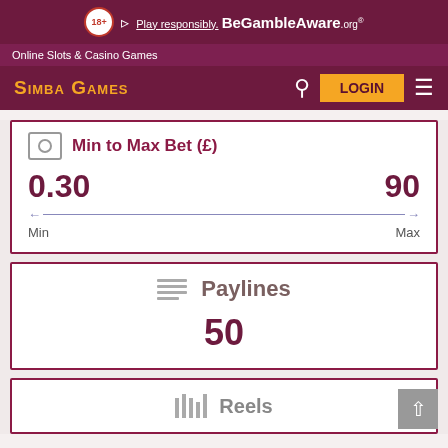18+ Play responsibly. BeGambleAware.org
Online Slots & Casino Games
Simba Games LOGIN
Min to Max Bet (£)
0.30   90
Min   Max
Paylines
50
Reels